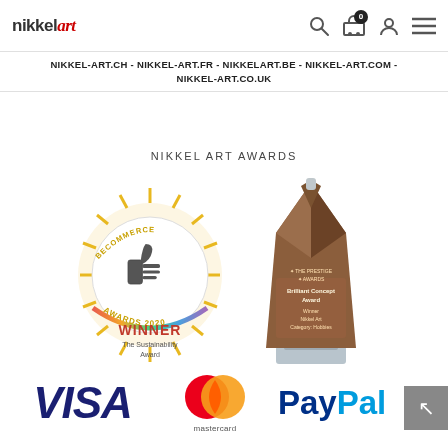nikkel art — navigation header with logo, search, cart (0), account, menu icons
NIKKEL-ART.CH - NIKKEL-ART.FR - NIKKELART.BE - NIKKEL-ART.COM - NIKKEL-ART.CO.UK
NIKKEL ART AWARDS
[Figure (photo): Ecommerce Awards 2020 Winner - The Sustainability Award badge (gold circular badge with thumbs up icon and rainbow ring) and a brown crystal Brilliant Concept Award trophy from The Prestige Awards]
[Figure (logo): VISA logo in dark blue italic bold text]
[Figure (logo): Mastercard logo - two overlapping circles red and orange with 'mastercard' text below]
[Figure (logo): PayPal logo in blue text]